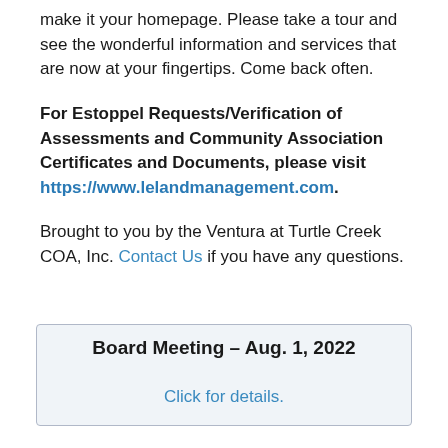make it your homepage. Please take a tour and see the wonderful information and services that are now at your fingertips. Come back often.
For Estoppel Requests/Verification of Assessments and Community Association Certificates and Documents, please visit https://www.lelandmanagement.com.
Brought to you by the Ventura at Turtle Creek COA, Inc. Contact Us if you have any questions.
Board Meeting – Aug. 1, 2022
Click for details.